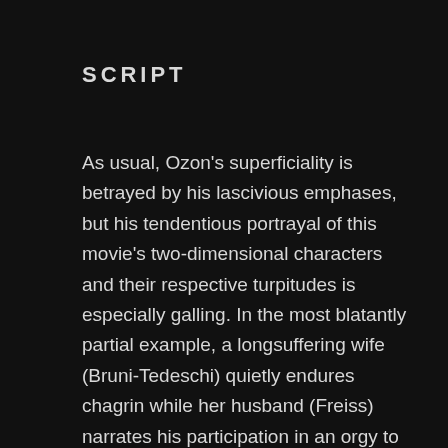SCRIPT
As usual, Ozon's superficiality is betrayed by his lascivious emphases, but his tendentious portrayal of this movie's two-dimensional characters and their respective turpitudes is especially galling. In the most blatantly partial example, a longsuffering wife (Bruni-Tedeschi) quietly endures chagrin while her husband (Freiss) narrates his participation in an orgy to his brother (Chappey) and his boyfriend (Ruchmann); on their wedding night, her fling with a handsome American (Tavassoli) is treated as an erotically condonable caprice. Ozon weirdly, habitually abstracts to denigrate heterosexuality, but his worst